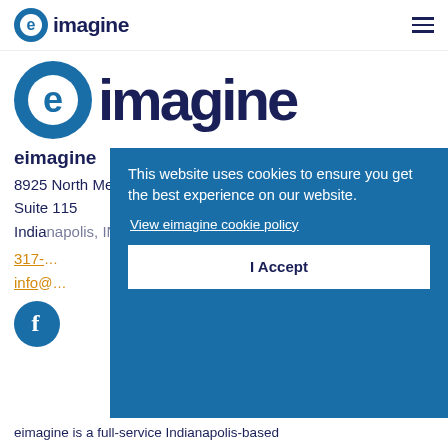[Figure (logo): eimagine logo in navbar with blue circle 'e' icon and dark navy text 'eimagine']
[Figure (logo): Large eimagine logo with blue circle 'e' icon and large dark navy text 'eimagine']
eimagine
8925 North Meridian Street
Suite 115
India[napolis, IN 46260]
317-[xxx-xxxx]
info[@eimagine.com]
[Figure (logo): Facebook icon — white 'f' on teal/blue circular background]
eimagine is a full-service Indianapolis-based
This website uses cookies to ensure you get the best experience on our website.
View eimagine cookie policy
I Accept